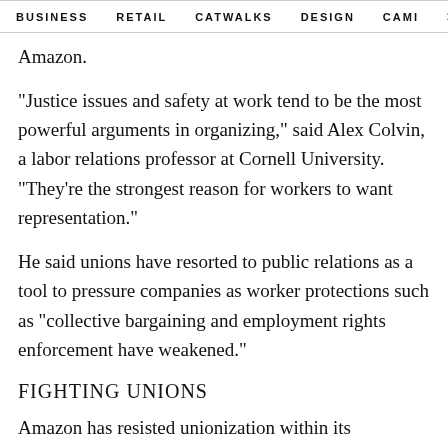BUSINESS   RETAIL   CATWALKS   DESIGN   CAMI   >
Amazon.
"Justice issues and safety at work tend to be the most powerful arguments in organizing," said Alex Colvin, a labor relations professor at Cornell University. "They're the strongest reason for workers to want representation."
He said unions have resorted to public relations as a tool to pressure companies as worker protections such as "collective bargaining and employment rights enforcement have weakened."
FIGHTING UNIONS
Amazon has resisted unionization within its workforce